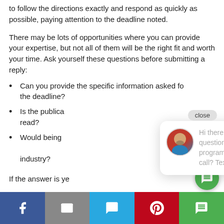to follow the directions exactly and respond as quickly as possible, paying attention to the deadline noted.
There may be lots of opportunities where you can provide your expertise, but not all of them will be the right fit and worth your time. Ask yourself these questions before submitting a reply:
Can you provide the specific information asked for by the deadline?
Is the publication one that your target audience will read?
Would being featured in this publication help establish you as an industry?
If the answer is yes, then go for it.
[Figure (screenshot): Chat popup bubble with avatar and message: Hi there, have a question about our programs or book a call? Text us here. With close button.]
[Figure (screenshot): Social sharing bar at bottom with Facebook, Email, SMS, Pinterest, and Chat icons]